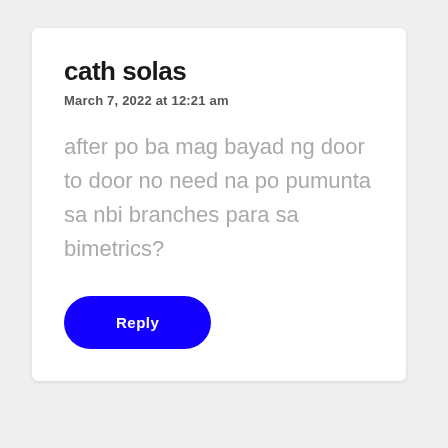cath solas
March 7, 2022 at 12:21 am
after po ba mag bayad ng door to door no need na po pumunta sa nbi branches para sa bimetrics?
Reply